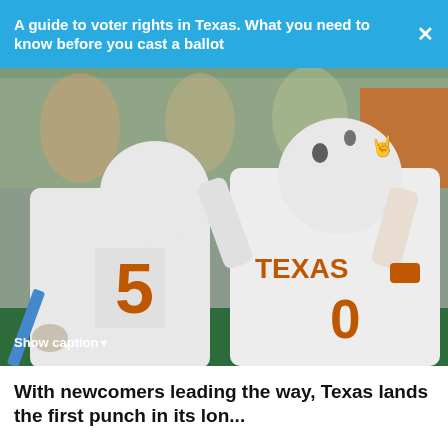A guide to voter rights in Texas. What you need to know before you cast a ballot
[Figure (photo): Two University of Texas Longhorns baseball players in white uniforms (numbers 5 and 0) celebrating, bumping helmets. Players are wearing white uniforms with orange 'TEXAS' lettering. Background shows cardboard fan cutouts and an orange-clad spectator.]
Show caption▼
With newcomers leading the way, Texas lands the first punch in its lon...